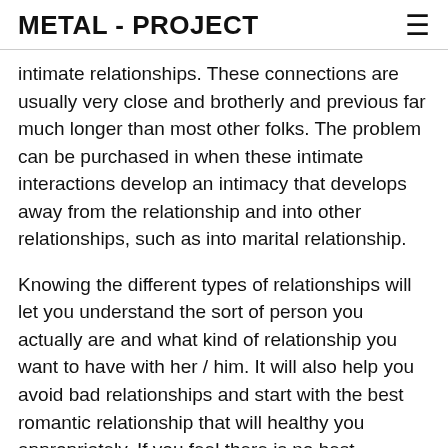METAL - PROJECT
intimate relationships. These connections are usually very close and brotherly and previous far much longer than most other folks. The problem can be purchased in when these intimate interactions develop an intimacy that develops away from the relationship and into other relationships, such as into marital relationship.
Knowing the different types of relationships will let you understand the sort of person you actually are and what kind of relationship you want to have with her / him. It will also help you avoid bad relationships and start with the best romantic relationship that will healthy you appropriately. If you feel there is no best relationship in existence, then you should at least know the several types of